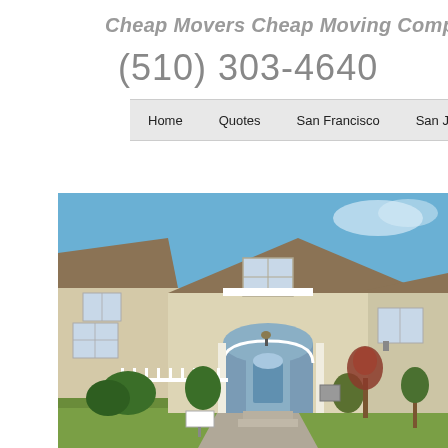Cheap Movers Cheap Moving Company
(510) 303-4640
Home   Quotes   San Francisco   San Jose
[Figure (photo): Exterior photo of a large two-story beige/cream stucco residential home with tiled roof, arched entry portico, landscaped front yard with shrubs and trees, driveway leading to entrance, clear blue sky background.]